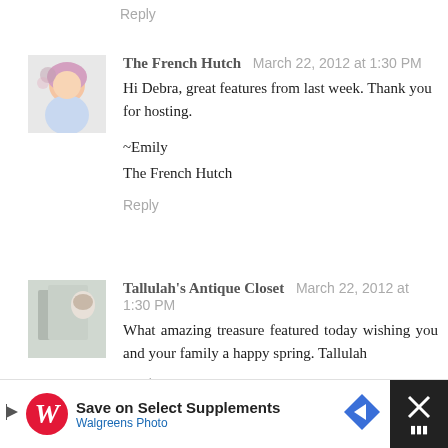Reply
The French Hutch  March 22, 2012 at 1:30 PM
Hi Debra, great features from last week. Thank you for hosting.

~Emily
The French Hutch

Reply
Tallulah's Antique Closet  March 22, 2012 at 1:30 PM
What amazing treasure featured today wishing you and your family a happy spring. Tallulah

Reply
Gail  March 22, 2012 at 1:31 PM
[Figure (screenshot): Walgreens advertisement banner: Save on Select Supplements, Walgreens Photo]